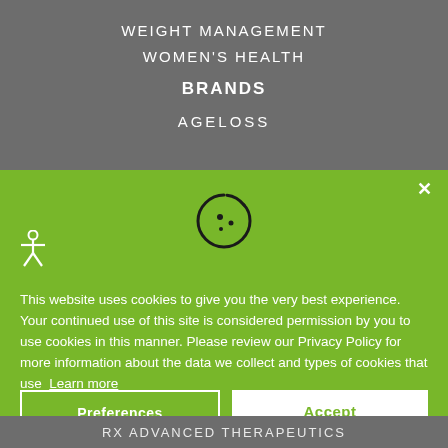WEIGHT MANAGEMENT
WOMEN'S HEALTH
BRANDS
AGELOSS
[Figure (infographic): Cookie consent popup overlay on green background (#78b72a) with cookie icon, accessibility icon, cookie policy text, Preferences button (outlined) and Accept button (white fill).]
This website uses cookies to give you the very best experience. Your continued use of this site is considered permission by you to use cookies in this manner. Please review our Privacy Policy for more information about the data we collect and types of cookies that use  Learn more
Preferences
Accept
RX ADVANCED THERAPEUTICS